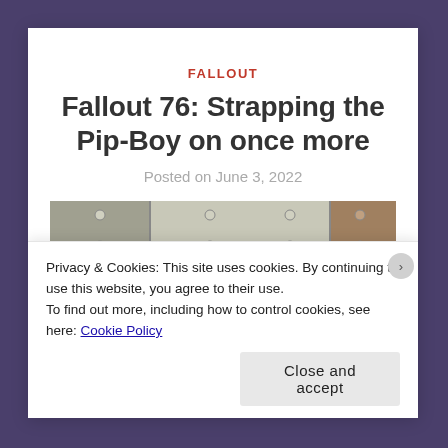FALLOUT
Fallout 76: Strapping the Pip-Boy on once more
Posted on June 3, 2022
[Figure (photo): Close-up photo of a hand touching a metallic riveted surface, likely a vault door from the Fallout game setting]
Privacy & Cookies: This site uses cookies. By continuing to use this website, you agree to their use.
To find out more, including how to control cookies, see here: Cookie Policy